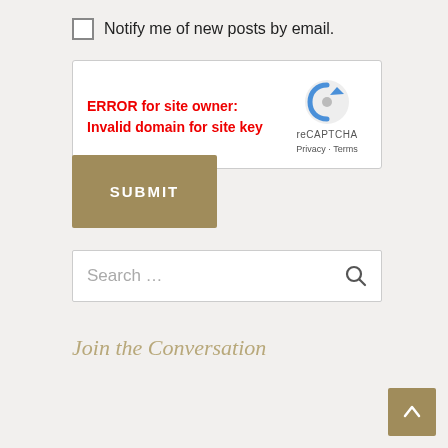Notify me of new posts by email.
[Figure (screenshot): reCAPTCHA widget showing ERROR for site owner: Invalid domain for site key]
SUBMIT
Search …
Join the Conversation